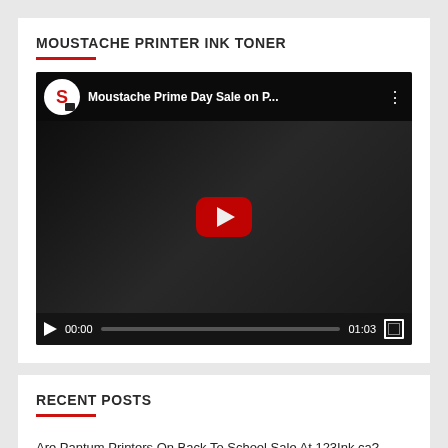MOUSTACHE PRINTER INK TONER
[Figure (screenshot): YouTube embedded video player showing 'Moustache Prime Day Sale on P...' with channel icon, play button, progress bar showing 00:00 / 01:03, and fullscreen button]
RECENT POSTS
Are Pantum Printers On Back To School Sale At 123Ink.ca?
Best Back To School Deals And Discounts On Office